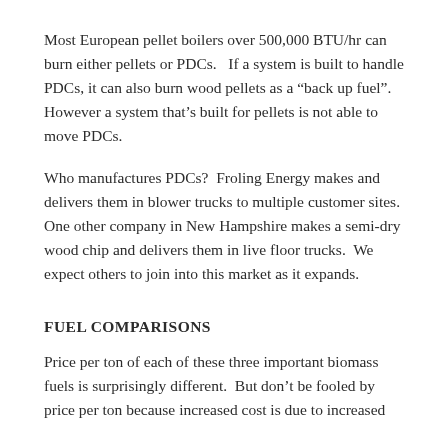Most European pellet boilers over 500,000 BTU/hr can burn either pellets or PDCs.   If a system is built to handle PDCs, it can also burn wood pellets as a “back up fuel”.  However a system that’s built for pellets is not able to move PDCs.
Who manufactures PDCs?  Froling Energy makes and delivers them in blower trucks to multiple customer sites.  One other company in New Hampshire makes a semi-dry wood chip and delivers them in live floor trucks.  We expect others to join into this market as it expands.
FUEL COMPARISONS
Price per ton of each of these three important biomass fuels is surprisingly different.  But don’t be fooled by price per ton because increased cost is due to increased